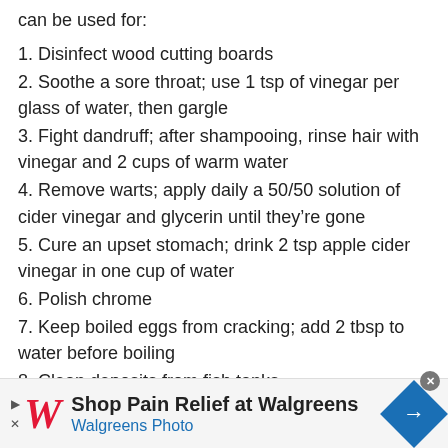can be used for:
1. Disinfect wood cutting boards
2. Soothe a sore throat; use 1 tsp of vinegar per glass of water, then gargle
3. Fight dandruff; after shampooing, rinse hair with vinegar and 2 cups of warm water
4. Remove warts; apply daily a 50/50 solution of cider vinegar and glycerin until they’re gone
5. Cure an upset stomach; drink 2 tsp apple cider vinegar in one cup of water
6. Polish chrome
7. Keep boiled eggs from cracking; add 2 tbsp to water before boiling
8. Clean deposits from fish tanks
[Figure (infographic): Walgreens advertisement banner: Shop Pain Relief at Walgreens. Walgreens Photo. With Walgreens logo (cursive W in red) and blue arrow sign icon.]